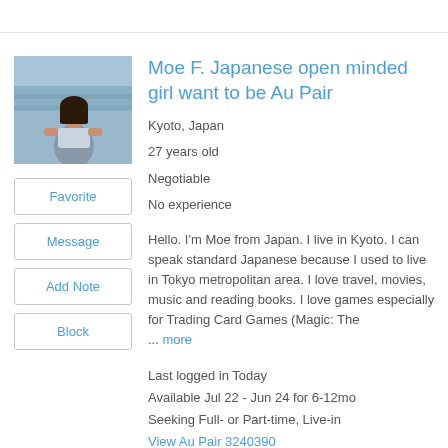[Figure (photo): Profile photo of Moe F., a young Japanese woman standing outdoors near a waterfront or bridge area]
Moe F. Japanese open minded girl want to be Au Pair
Kyoto, Japan
27 years old
Negotiable
No experience
Hello. I'm Moe from Japan. I live in Kyoto. I can speak standard Japanese because I used to live in Tokyo metropolitan area. I love travel, movies, music and reading books. I love games especially for Trading Card Games (Magic: The ... more
Last logged in Today
Available Jul 22 - Jun 24 for 6-12mo
Seeking Full- or Part-time, Live-in
View Au Pair 3240390